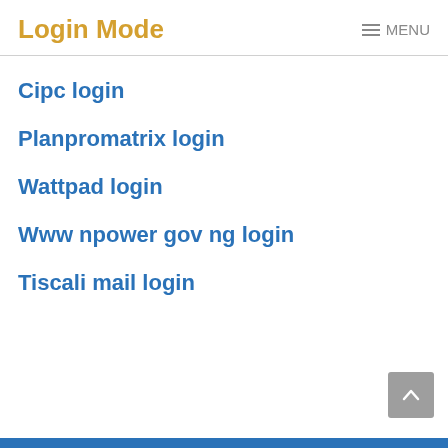Login Mode  MENU
Cipc login
Planpromatrix login
Wattpad login
Www npower gov ng login
Tiscali mail login